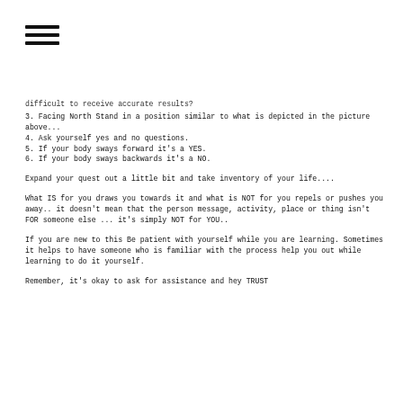[Figure (other): Hamburger menu icon (three horizontal bars)]
difficult to receive accurate results?
3. Facing North Stand in a position similar to what is depicted in the picture above...
4. Ask yourself yes and no questions.
5. If your body sways forward it's a YES.
6. If your body sways backwards it's a NO.
Expand your quest out a little bit and take inventory of your life....
What IS for you draws you towards it and what is NOT for you repels or pushes you away.. it doesn't mean that the person message, activity, place or thing isn't FOR someone else ... it's simply NOT for YOU..
If you are new to this Be patient with yourself while you are learning. Sometimes it helps to have someone who is familiar with the process help you out while learning to do it yourself.
Remember, it's okay to ask for assistance and hey TRUST